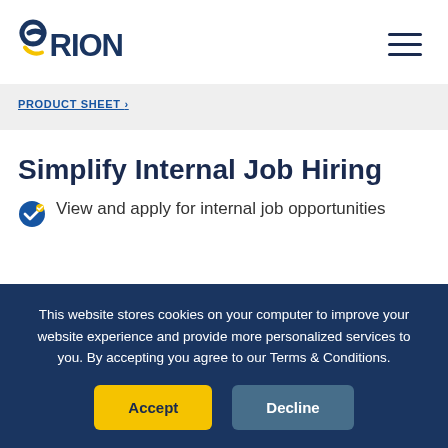ORION logo and navigation menu
PRODUCT SHEET >
Simplify Internal Job Hiring
View and apply for internal job opportunities
This website stores cookies on your computer to improve your website experience and provide more personalized services to you. By accepting you agree to our Terms & Conditions.
Accept  Decline